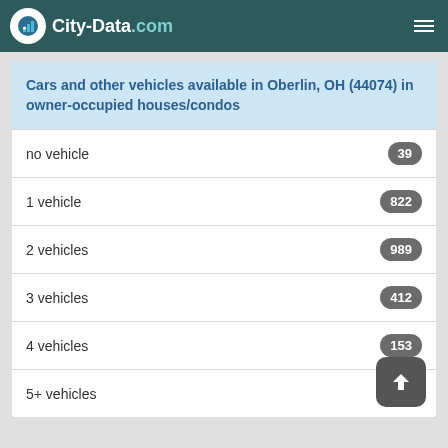City-Data.com
Cars and other vehicles available in Oberlin, OH (44074) in owner-occupied houses/condos
no vehicle — 39
1 vehicle — 822
2 vehicles — 989
3 vehicles — 412
4 vehicles — 153
5+ vehicles — 101